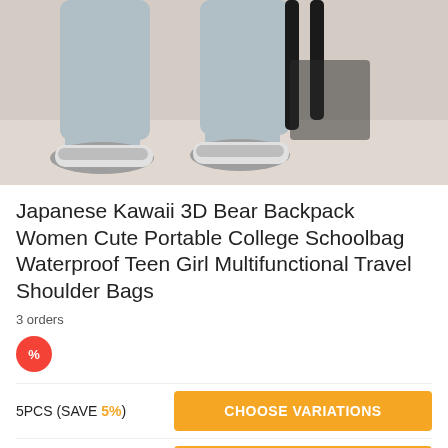[Figure (photo): Product photo showing lower legs of a person wearing light blue wide-leg trousers and silver/white chunky sneakers, carrying a black tote bag on a light floor background.]
Japanese Kawaii 3D Bear Backpack Women Cute Portable College Schoolbag Waterproof Teen Girl Multifunctional Travel Shoulder Bags
3 orders
[Figure (other): Red flame/droplet icon with % symbol indicating a flash sale or bulk discount promotion.]
5PCS (SAVE 5%)   CHOOSE VARIATIONS
10PCS (SAVE 10%)   CHOOSE VARIATIONS